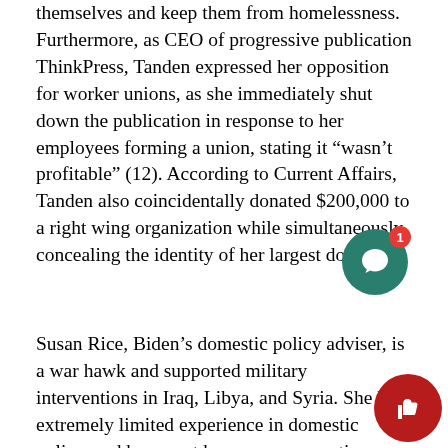themselves and keep them from homelessness. Furthermore, as CEO of progressive publication ThinkPress, Tanden expressed her opposition for worker unions, as she immediately shut down the publication in response to her employees forming a union, stating it “wasn’t profitable” (12). According to Current Affairs, Tanden also coincidentally donated $200,000 to a right wing organization while simultaneously concealing the identity of her largest donors.
Susan Rice, Biden’s domestic policy adviser, is a war hawk and supported military interventions in Iraq, Libya, and Syria. She has extremely limited experience in domestic policy, and has spent her career supporting countless wars led by the United States. According to the Guardian, after serving in the Bush administration, Rice backed the administration’s misleading claims regarding Saddam Hussein and Iraq’s possession of
[Figure (other): Two circular notification bubbles in the bottom-right corner: a teal chat bubble with a red badge showing '1', and a dark red thumbs-up bubble.]